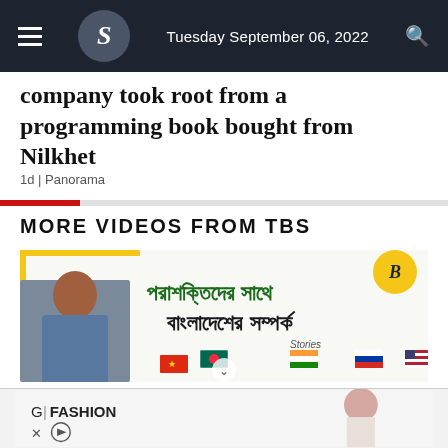Tuesday September 06, 2022
company took root from a programming book bought from Nilkhet
1d | Panorama
MORE VIDEOS FROM TBS
[Figure (screenshot): Video thumbnail showing a Bengali news story about Bangladesh's relations with superpowers, with a man in a blue shirt and flags of multiple countries]
[Figure (screenshot): Advertisement banner showing G|FASHION branding with a female model]